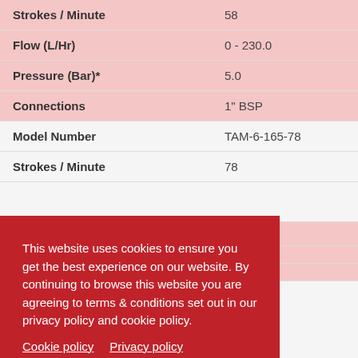| Specification | Value |
| --- | --- |
| Strokes / Minute | 58 |
| Flow (L/Hr) | 0 - 230.0 |
| Pressure (Bar)* | 5.0 |
| Connections | 1" BSP |
| Model Number | TAM-6-165-78 |
| Strokes / Minute | 78 |
| Connections | 1" BSP |
This website uses cookies to ensure you get the best experience on our website. By continuing to browse this website you are agreeing to terms & conditions set out in our privacy policy and cookie policy. Cookie policy   Privacy policy